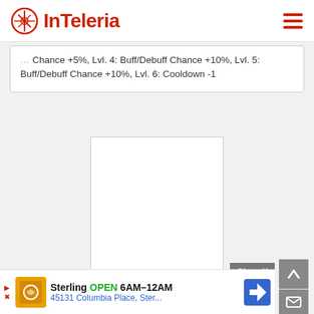InTeleria
Chance +5%, Lvl. 4: Buff/Debuff Chance +10%, Lvl. 5: Buff/Debuff Chance +10%, Lvl. 6: Cooldown -1
[Figure (other): Advertisement placeholder rectangle with label 'Corpulent Cadaver' in red text at the bottom]
Close X
[Figure (other): Bottom advertisement banner: Sterling OPEN 6AM-12AM, 45131 Columbia Place, Ster...]